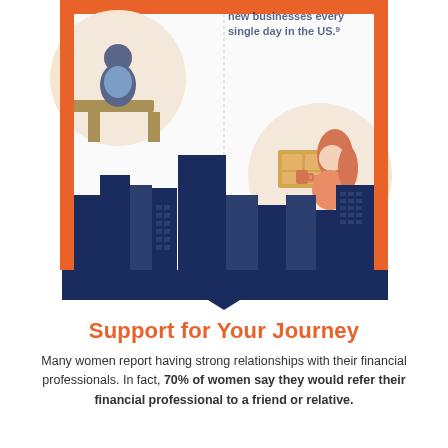[Figure (infographic): Infographic panel showing a city skyline in dark navy blue with an orange border frame. Upper left shows a circular illustration of a person at a podium/desk. Upper right shows a statistic text about new businesses, and a circular illustration of a woman with red hair holding a mug near boxes. Bottom has a downward arrow from the skyline.]
Support for Your Journey
Many women report having strong relationships with their financial professionals. In fact, 70% of women say they would refer their financial professional to a friend or relative.